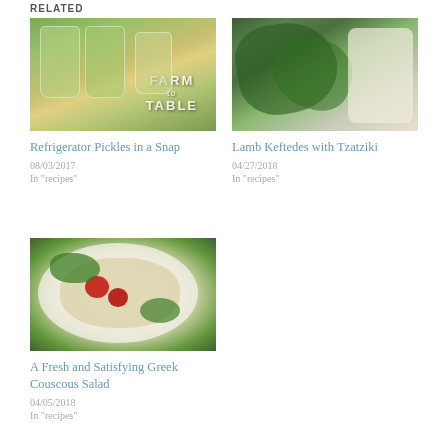RELATED
[Figure (photo): Mason jars with pickled cucumbers and herbs, text overlay reading FARM to TABLE]
Refrigerator Pickles in a Snap
08/03/2017
In "recipes"
[Figure (photo): Fresh spinach leaves with meat and rice ingredients for lamb keftedes]
Lamb Keftedes with Tzatziki
04/27/2018
In "recipes"
[Figure (photo): Plate of Greek couscous salad with cherry tomatoes and parsley]
A Fresh and Satisfying Greek Couscous Salad
04/05/2018
In "recipes"